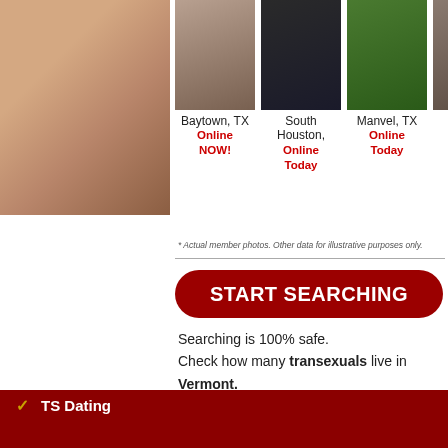[Figure (photo): Close-up photo on left side]
[Figure (photo): Profile photo - Baytown, TX - Online NOW!]
[Figure (photo): Profile photo - South Houston - Online Today]
[Figure (photo): Profile photo - Manvel, TX - Online Today]
[Figure (photo): Profile photo - partial, cut off]
* Actual member photos. Other data for illustrative purposes only.
START SEARCHING
Searching is 100% safe. Check how many transexuals live in Vermont.
TS Dating
TV Dating
Transexual Dating
Transsexual Dating
Transvestite Dating